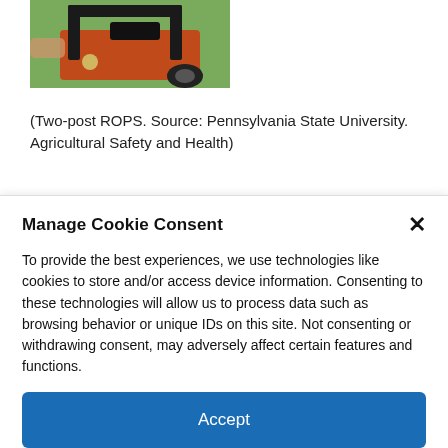[Figure (photo): Photograph of a two-post ROPS (Roll-Over Protective Structure) on a tractor, showing the orange tractor body and black ROPS frame against a green outdoor background.]
(Two-post ROPS. Source: Pennsylvania State University. Agricultural Safety and Health)
Manage Cookie Consent
To provide the best experiences, we use technologies like cookies to store and/or access device information. Consenting to these technologies will allow us to process data such as browsing behavior or unique IDs on this site. Not consenting or withdrawing consent, may adversely affect certain features and functions.
Accept
Cookie Policy  Privacy Statement